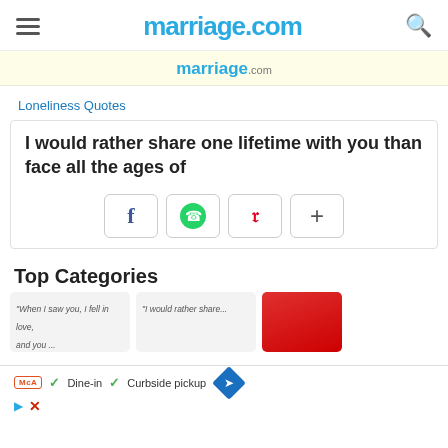marriage.com
[Figure (screenshot): marriage.com logo banner in light yellow background]
Loneliness Quotes
I would rather share one lifetime with you than face all the ages of
[Figure (infographic): Share buttons: Facebook, WhatsApp, Pinterest, plus sign]
Top Categories
[Figure (screenshot): Category cards: quote cards and red roses image, with advertisement overlay showing McA badge, Dine-in, Curbside pickup]